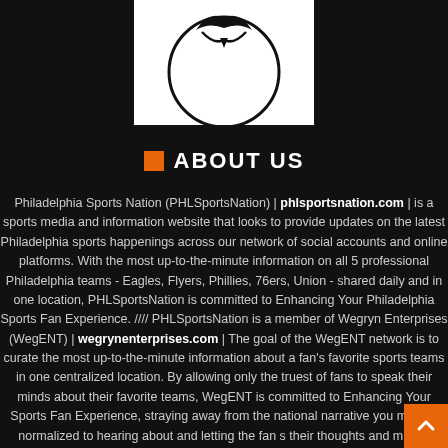[Figure (logo): Partial logo image at top — black and white circular logo with wing or bird motif]
ABOUT US
Philadelphia Sports Nation (PHLSportsNation) | phlsportsnation.com | is a sports media and information website that looks to provide updates on the latest Philadelphia sports happenings across our network of social accounts and online platforms. With the most up-to-the-minute information on all 5 professional Philadelphia teams - Eagles, Flyers, Phillies, 76ers, Union - shared daily and in one location, PHLSportsNation is committed to Enhancing Your Philadelphia Sports Fan Experience. //// PHLSportsNation is a member of Wegryn Enterprises (WegENT) | wegrynenterprises.com | The goal of the WegENT network is to curate the most up-to-the-minute information about a fan's favorite sports teams in one centralized location. By allowing only the truest of fans to speak their minds about their favorite teams, WegENT is committed to Enhancing Your Sports Fan Experience, straying away from the national narrative you may be normalized to hearing about and letting the fan share their thoughts and minds.